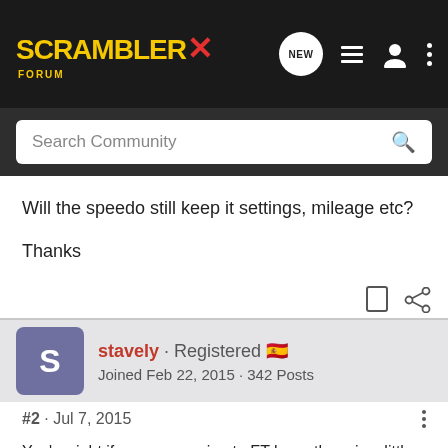SCRAMBLER FORUM
Search Community
Will the speedo still keep it settings, mileage etc?

Thanks
stavely · Registered
Joined Feb 22, 2015 · 342 Posts
#2 · Jul 7, 2015
You're right if you are moving to FT bars, there is a little lever holding the electric plug into the speedo.
The speedo has to come off when changing to the bigger